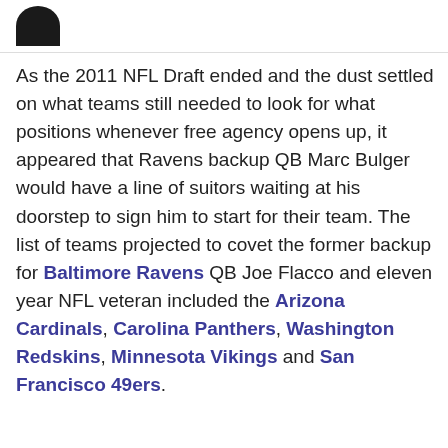[Figure (logo): Partial circular logo/icon visible at top left, black on white]
As the 2011 NFL Draft ended and the dust settled on what teams still needed to look for what positions whenever free agency opens up, it appeared that Ravens backup QB Marc Bulger would have a line of suitors waiting at his doorstep to sign him to start for their team. The list of teams projected to covet the former backup for Baltimore Ravens QB Joe Flacco and eleven year NFL veteran included the Arizona Cardinals, Carolina Panthers, Washington Redskins, Minnesota Vikings and San Francisco 49ers.